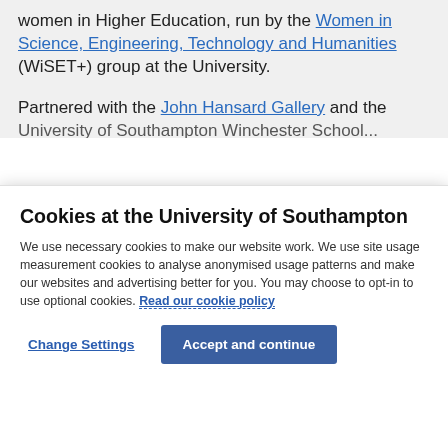women in Higher Education, run by the Women in Science, Engineering, Technology and Humanities (WiSET+) group at the University.
Partnered with the John Hansard Gallery and the University of Southampton Winchester School...
Cookies at the University of Southampton
We use necessary cookies to make our website work. We use site usage measurement cookies to analyse anonymised usage patterns and make our websites and advertising better for you. You may choose to opt-in to use optional cookies. Read our cookie policy
Change Settings
Accept and continue